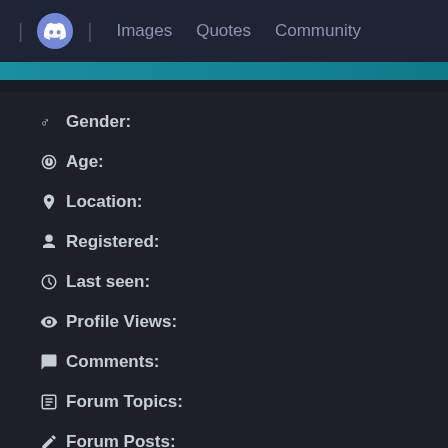| [Discord icon] | Images   Quotes   Community
Gender:
Age:
Location:
Registered:
Last seen:
Profile Views:
Comments:
Forum Topics:
Forum Posts:
Cookies:
Quotes Submitted:
Quotes Collected:
Images Uploaded: